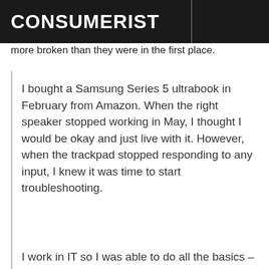CONSUMERIST
more broken than they were in the first place.
I bought a Samsung Series 5 ultrabook in February from Amazon. When the right speaker stopped working in May, I thought I would be okay and just live with it. However, when the trackpad stopped responding to any input, I knew it was time to start troubleshooting.
I work in IT so I was able to do all the basics – uninstall/reinstall drivers, test external mice, play around with sensitivity, etc. When I called 1-800-SAMSUNG the rep on the phone at least didn't make me